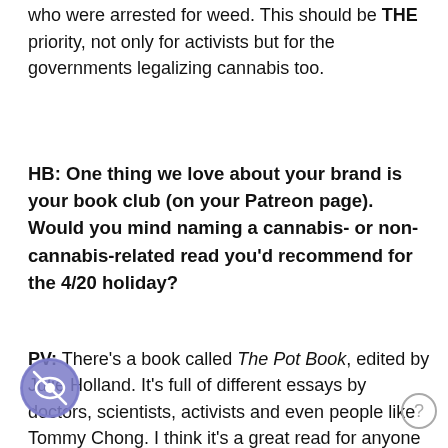who were arrested for weed. This should be THE priority, not only for activists but for the governments legalizing cannabis too.
HB: One thing we love about your brand is your book club (on your Patreon page). Would you mind naming a cannabis- or non-cannabis-related read you'd recommend for the 4/20 holiday?
PV: There's a book called The Pot Book, edited by Julie Holland. It's full of different essays by doctors, scientists, activists and even people like Tommy Chong. I think it's a great read for anyone whether they smoke or not, actually, because it's so interesting, and it gives people a really wide overview of the uses of Cannabis and what it's meant to the world.
ou want to read about witchy uses for weed there are unfortunately not a lot of book sources (yet!) but there's